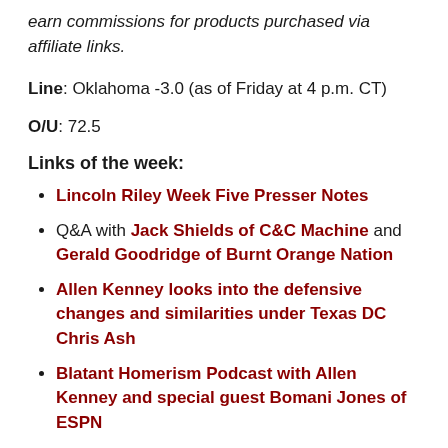earn commissions for products purchased via affiliate links.
Line: Oklahoma -3.0 (as of Friday at 4 p.m. CT)
O/U: 72.5
Links of the week:
Lincoln Riley Week Five Presser Notes
Q&A with Jack Shields of C&C Machine and Gerald Goodridge of Burnt Orange Nation
Allen Kenney looks into the defensive changes and similarities under Texas DC Chris Ash
Blatant Homerism Podcast with Allen Kenney and special guest Bomani Jones of ESPN